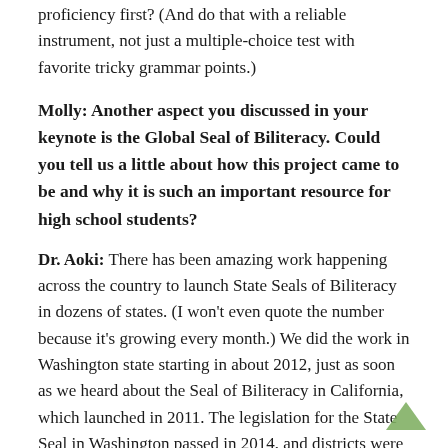proficiency first? (And do that with a reliable instrument, not just a multiple-choice test with favorite tricky grammar points.)
Molly: Another aspect you discussed in your keynote is the Global Seal of Biliteracy. Could you tell us a little about how this project came to be and why it is such an important resource for high school students?
Dr. Aoki: There has been amazing work happening across the country to launch State Seals of Biliteracy in dozens of states. (I won't even quote the number because it's growing every month.) We did the work in Washington state starting in about 2012, just as soon as we heard about the Seal of Biliteracy in California, which launched in 2011. The legislation for the State Seal in Washington passed in 2014, and districts were able to award the first